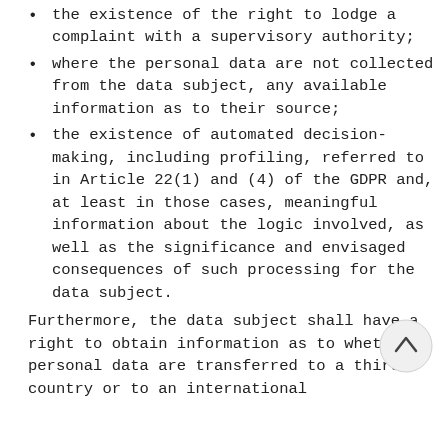the existence of the right to lodge a complaint with a supervisory authority;
where the personal data are not collected from the data subject, any available information as to their source;
the existence of automated decision-making, including profiling, referred to in Article 22(1) and (4) of the GDPR and, at least in those cases, meaningful information about the logic involved, as well as the significance and envisaged consequences of such processing for the data subject.
Furthermore, the data subject shall have a right to obtain information as to whether personal data are transferred to a third country or to an international